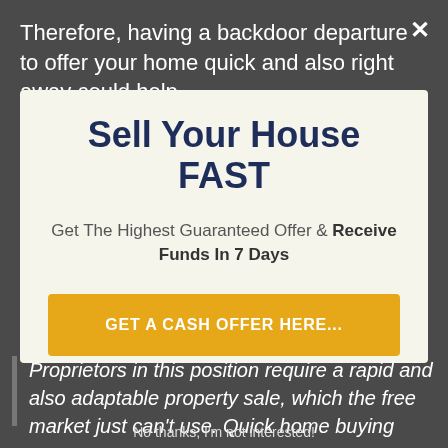Therefore, having a backdoor departure to offer your home quick and also right away could help
Sell Your House FAST
Get The Highest Guaranteed Offer & Receive Funds In 7 Days
GET A CASH OFFER HERE...
Proprietors in this position require a rapid and also adaptable property sale, which the free market just can't use. Quick home buying
No thanks, I'm not interested!